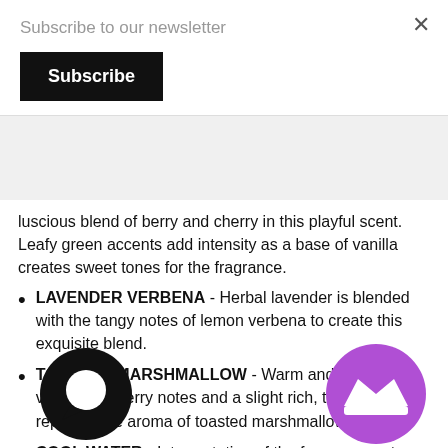Subscribe to our newsletter
Subscribe
luscious blend of berry and cherry in this playful scent. Leafy green accents add intensity as a base of vanilla creates sweet tones for the fragrance.
LAVENDER VERBENA - Herbal lavender is blended with the tangy notes of lemon verbena to create this exquisite blend.
TOASTED MARSHMALLOW - Warm and sweet with vanilla and berry notes and a slight rich, toasty note to replicate the aroma of toasted marshmallows.
COOL WATER - Interpretation of the famous scent. This masculine scent possesses a blend of lavender, pine, oakmoss, musk and sandalwood.
SWEET FIG - Starting on a base of vanilla bean, caramel and fig leaves, this intricate fragrance is